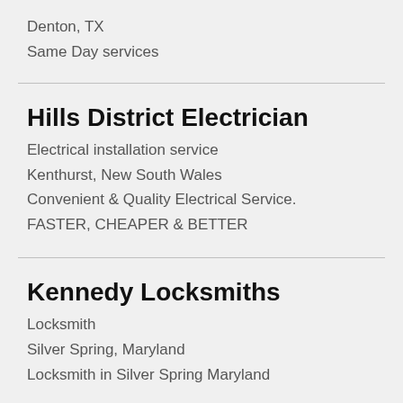Denton, TX
Same Day services
Hills District Electrician
Electrical installation service
Kenthurst, New South Wales
Convenient & Quality Electrical Service.
FASTER, CHEAPER & BETTER
Kennedy Locksmiths
Locksmith
Silver Spring, Maryland
Locksmith in Silver Spring Maryland